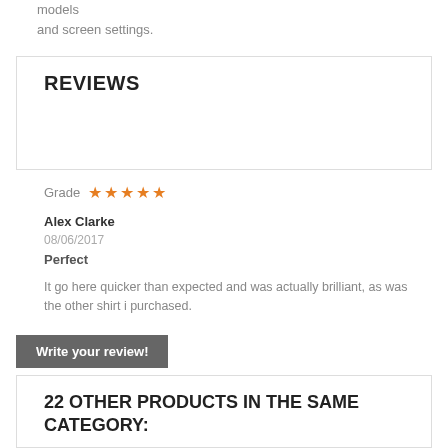models
and screen settings.
REVIEWS
Grade ★★★★★
Alex Clarke
08/06/2017
Perfect
It go here quicker than expected and was actually brilliant, as was the other shirt i purchased.
Write your review!
22 OTHER PRODUCTS IN THE SAME CATEGORY: